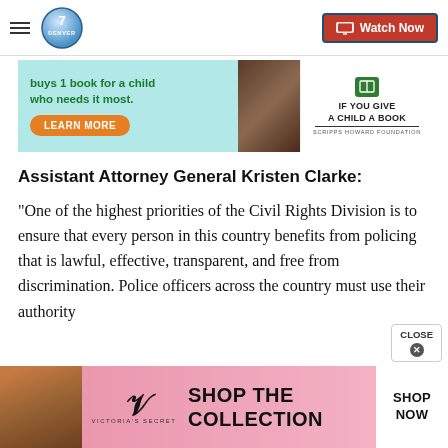Denver 7 — Watch Now
[Figure (screenshot): Advertisement: buys 1 book for a child who needs it most. LEARN MORE. IF YOU GIVE A CHILD A BOOK. Scripps Howard Foundation.]
Assistant Attorney General Kristen Clarke:
“One of the highest priorities of the Civil Rights Division is to ensure that every person in this country benefits from policing that is lawful, effective, transparent, and free from discrimination. Police officers across the country must use their authority
[Figure (screenshot): Victoria's Secret advertisement: Shop the collection. Shop Now button.]